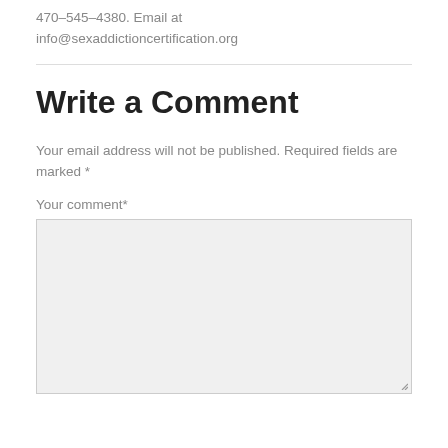470-545-4380. Email at info@sexaddictioncertification.org
Write a Comment
Your email address will not be published. Required fields are marked *
Your comment*